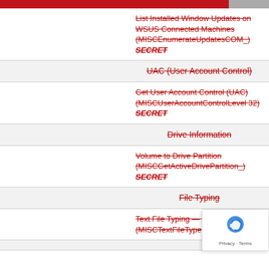List Installed Window Updates on WSUS Connected Machines (MISCEnumerateUpdatesCOM_) SECRET
UAC (User Account Control)
Get User Account Control (UAC) (MISCUserAccountControlLevel 32) SECRET
Drive Information
Volume to Drive Partition (MISCGetActiveDrivePartition_) SECRET
File Typing
Text File Typing — Determ (MISCTextFileTyper_ENG